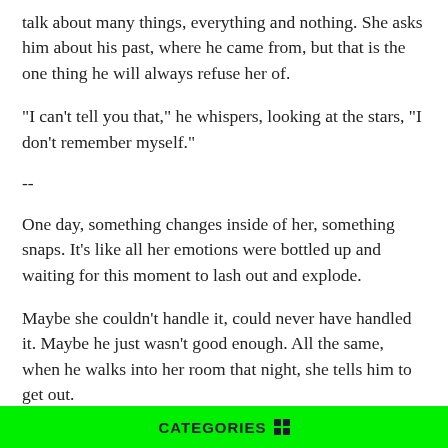talk about many things, everything and nothing. She asks him about his past, where he came from, but that is the one thing he will always refuse her of.
"I can't tell you that," he whispers, looking at the stars, "I don't remember myself."
--
One day, something changes inside of her, something snaps. It's like all her emotions were bottled up and waiting for this moment to lash out and explode.
Maybe she couldn't handle it, could never have handled it. Maybe he just wasn't good enough. All the same, when he walks into her room that night, she tells him to get out.
"I can't," she starts, and then stutters, stops, and has to begin again. "I can't, can't do this. We can't do this. I don't--just
CATEGORIES